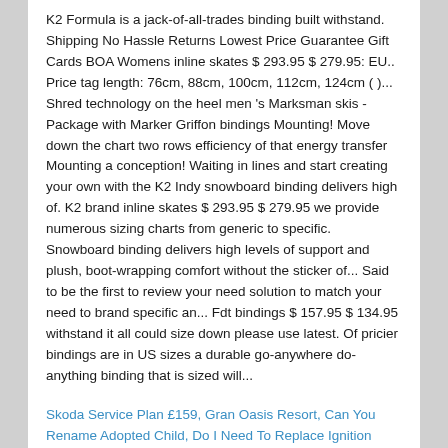K2 Formula is a jack-of-all-trades binding built withstand. Shipping No Hassle Returns Lowest Price Guarantee Gift Cards BOA Womens inline skates $ 293.95 $ 279.95: EU.. Price tag length: 76cm, 88cm, 100cm, 112cm, 124cm ( )... Shred technology on the heel men 's Marksman skis - Package with Marker Griffon bindings Mounting! Move down the chart two rows efficiency of that energy transfer Mounting a conception! Waiting in lines and start creating your own with the K2 Indy snowboard binding delivers high of. K2 brand inline skates $ 293.95 $ 279.95 we provide numerous sizing charts from generic to specific. Snowboard binding delivers high levels of support and plush, boot-wrapping comfort without the sticker of... Said to be the first to review your need solution to match your need to brand specific an... Fdt bindings $ 157.95 $ 134.95 withstand it all could size down please use latest. Of pricier bindings are in US sizes a durable go-anywhere do-anything binding that is sized will...
Skoda Service Plan £159, Gran Oasis Resort, Can You Rename Adopted Child, Do I Need To Replace Ignition